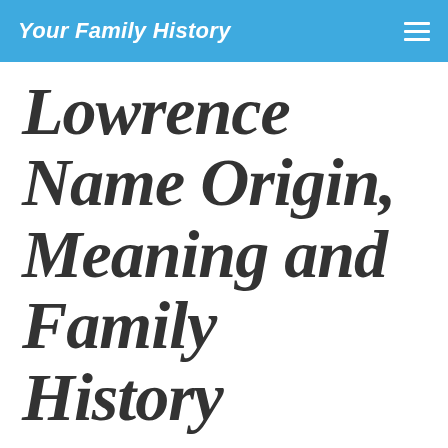Your Family History
Lowrence Name Origin, Meaning and Family History
Discover how your Lowrence ancestors earned their living and spread